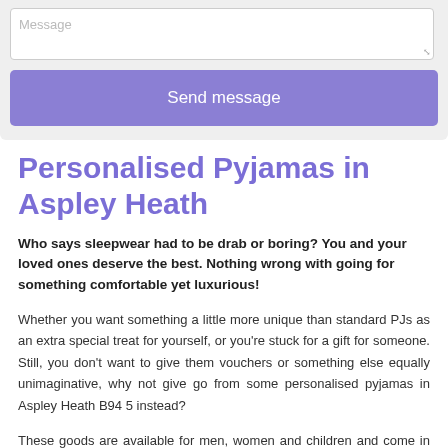[Figure (screenshot): A contact form textarea with placeholder text 'Message' and a purple 'Send message' button below it, on a light grey background.]
Personalised Pyjamas in Aspley Heath
Who says sleepwear had to be drab or boring? You and your loved ones deserve the best. Nothing wrong with going for something comfortable yet luxurious!
Whether you want something a little more unique than standard PJs as an extra special treat for yourself, or you're stuck for a gift for someone. Still, you don't want to give them vouchers or something else equally unimaginative, why not give go from some personalised pyjamas in Aspley Heath B94 5 instead?
These goods are available for men, women and children and come in various sizes and colours. The best part, though, is the